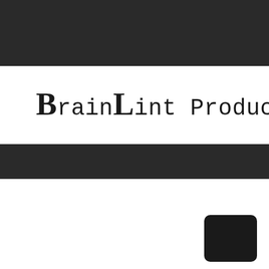[Figure (logo): BrainLint Productions logo with two horizontal black bars (top and middle) on white background, stylized text with serif B and L capitals mixed with monospace lowercase letters, and a black rounded square in the bottom right corner]